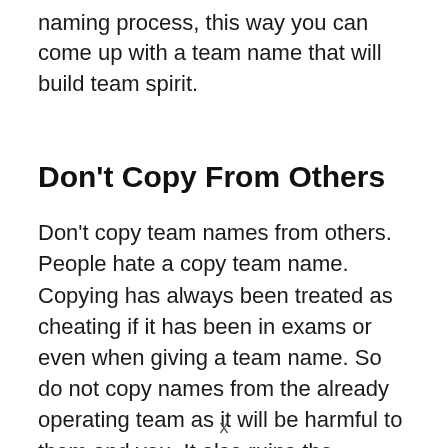naming process, this way you can come up with a team name that will build team spirit.
Don't Copy From Others
Don't copy team names from others. People hate a copy team name. Copying has always been treated as cheating if it has been in exams or even when giving a team name. So do not copy names from the already operating team as it will be harmful to them and you. It also ruins the popularity and trust factor of your team.
x